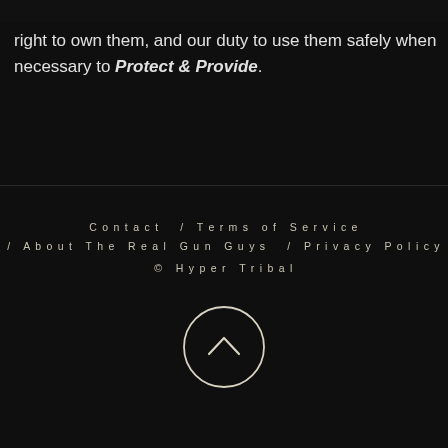right to own them, and our duty to use them safely when necessary to Protect & Provide.
Contact / Terms of Service / About The Real Gun Guys / Privacy Policy
© Hyper Tribal
[Figure (illustration): Circle button with upward-pointing chevron arrow]